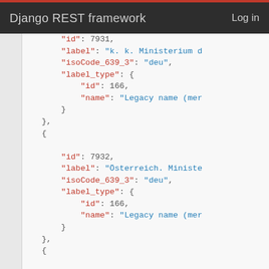Django REST framework   Log in
JSON code snippet showing REST API response with label entries for ids 7931, 7932, 7944 with isoCode_639_3 'deu' and label_type id 166 'Legacy name (mer...'